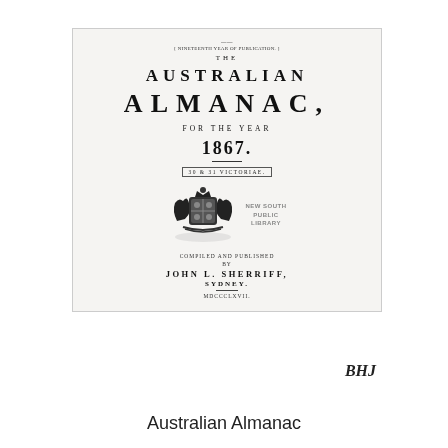[Figure (illustration): Scanned title page of The Australian Almanac for the year 1867, compiled and published by John L. Sherriff, Sydney. Contains coat of arms and library stamp.]
BHJ (handwritten annotation)
Australian Almanac